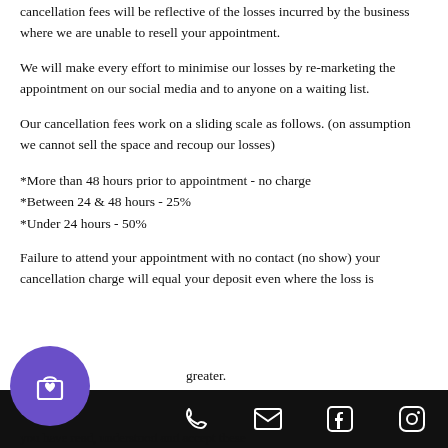cancellation fees will be reflective of the losses incurred by the business where we are unable to resell your appointment.
We will make every effort to minimise our losses by re-marketing the appointment on our social media and to anyone on a waiting list.
Our cancellation fees work on a sliding scale as follows. (on assumption we cannot sell the space and recoup our losses)
*More than 48 hours prior to appointment - no charge
*Between 24 & 48 hours - 25%
*Under 24 hours - 50%
Failure to attend your appointment with no contact (no show) your cancellation charge will equal your deposit even where the loss is greater.
you have read, understood and accept these